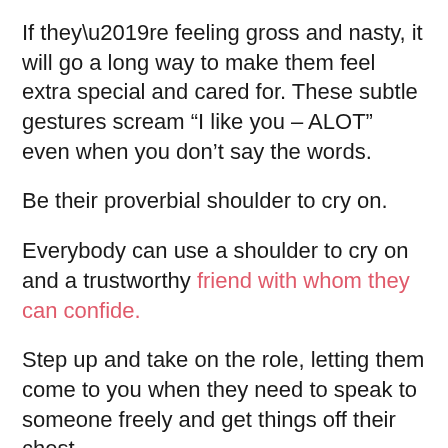If they’re feeling gross and nasty, it will go a long way to make them feel extra special and cared for. These subtle gestures scream “I like you – ALOT” even when you don’t say the words.
Be their proverbial shoulder to cry on.
Everybody can use a shoulder to cry on and a trustworthy friend with whom they can confide.
Step up and take on the role, letting them come to you when they need to speak to someone freely and get things off their chest.
Once they know they can confide in you, you’ll literally be their go-to support system and they will have